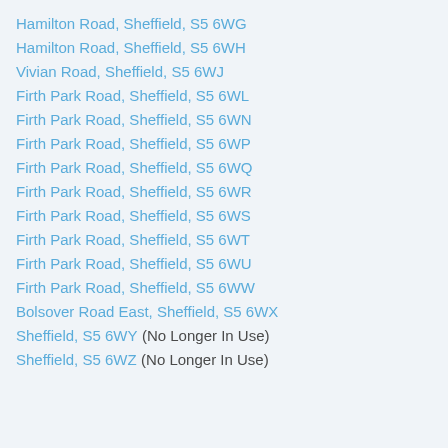Hamilton Road, Sheffield, S5 6WG
Hamilton Road, Sheffield, S5 6WH
Vivian Road, Sheffield, S5 6WJ
Firth Park Road, Sheffield, S5 6WL
Firth Park Road, Sheffield, S5 6WN
Firth Park Road, Sheffield, S5 6WP
Firth Park Road, Sheffield, S5 6WQ
Firth Park Road, Sheffield, S5 6WR
Firth Park Road, Sheffield, S5 6WS
Firth Park Road, Sheffield, S5 6WT
Firth Park Road, Sheffield, S5 6WU
Firth Park Road, Sheffield, S5 6WW
Bolsover Road East, Sheffield, S5 6WX
Sheffield, S5 6WY (No Longer In Use)
Sheffield, S5 6WZ (No Longer In Use)